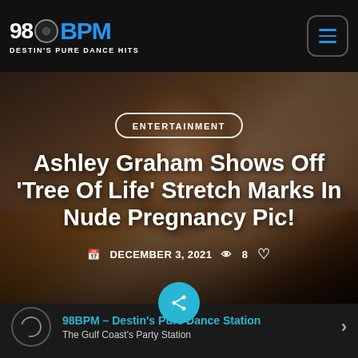98BPM DESTIN'S PURE DANCE HITS
[Figure (photo): Pregnant woman taking a mirror selfie, used as hero background image]
ENTERTAINMENT
Ashley Graham Shows Off 'Tree Of Life' Stretch Marks In Nude Pregnancy Pic!
DECEMBER 3, 2021  8
98BPM – Destin's Pure Dance Station
The Gulf Coast's Party Station